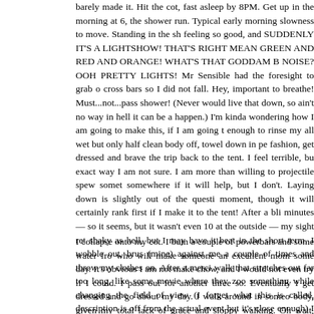barely made it. Hit the cot, fast asleep by 8PM. Get up in the morning at 6, the shower run. Typical early morning slowness to move. Standing in the shower feeling so good, and SUDDENLY IT'S A LIGHTSHOW! THAT'S RIGHT MEAN GREEN AND RED AND ORANGE! WHAT'S THAT GODDAM B NOISE? OOH PRETTY LIGHTS! Mr Sensible had the foresight to grab on cross bars so I did not fall. Hey, important to breathe! Must...not...pass shower! (Never would live that down, so ain't no way in hell it can be ah happen.) I'm kinda wondering how I am going to make this, if I am going to enough to rinse my all wet but only half clean body off, towel down in pe fashion, get dressed and brave the trip back to the tent. I feel terrible, bu exact way I am not sure. I am more than willing to projectile spew someth somewhere if it will help, but I don't. Laying down is slightly out of the questi moment, though it will certainly rank first if I make it to the tent! After a blin minutes — so it seems, but it wasn't even 10 at the outside — my sight ret shaky as hell, but I may have it beat in the short term. I wobble out, brush (mine) against me a couple of times and throw my clothes on. After a mercif walk that stretches out far too long, like some movie where they zoo something while changing the field of view (I forget what this is called, description is off from the actual event but it's close enough) I finally make safety of Tent Sweet Tent.
I collapse onto my cot. I bum a couple of powerbars and some water fro who will make someone an excellent mom some day. It's obvious I am not make chow, and I would not even try if I could. I pass out for another three so. Eventually I get dressed and go about my day. I walk around in someo body, given my total lack of grace and sloppy walking. Oh wait, that's norm but it was worse than usual.